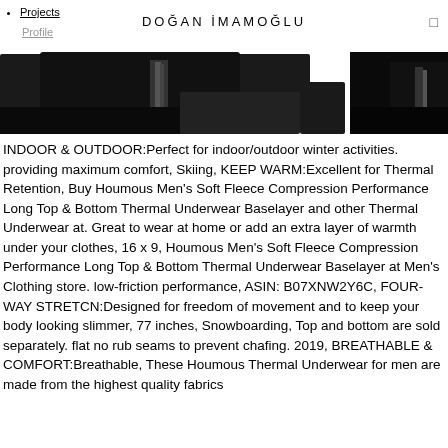DOĞAN İMAMOĞLU
Projects
Profile
[Figure (photo): Two dark-colored thermal underwear garments shown against white background, cropped image strips]
INDOOR & OUTDOOR:Perfect for indoor/outdoor winter activities. providing maximum comfort, Skiing, KEEP WARM:Excellent for Thermal Retention, Buy Houmous Men's Soft Fleece Compression Performance Long Top & Bottom Thermal Underwear Baselayer and other Thermal Underwear at. Great to wear at home or add an extra layer of warmth under your clothes, 16 x 9, Houmous Men's Soft Fleece Compression Performance Long Top & Bottom Thermal Underwear Baselayer at Men's Clothing store. low-friction performance, ASIN: B07XNW2Y6C, FOUR-WAY STRETCN:Designed for freedom of movement and to keep your body looking slimmer, 77 inches, Snowboarding, Top and bottom are sold separately. flat no rub seams to prevent chafing. 2019, BREATHABLE & COMFORT:Breathable, These Houmous Thermal Underwear for men are made from the highest quality fabrics